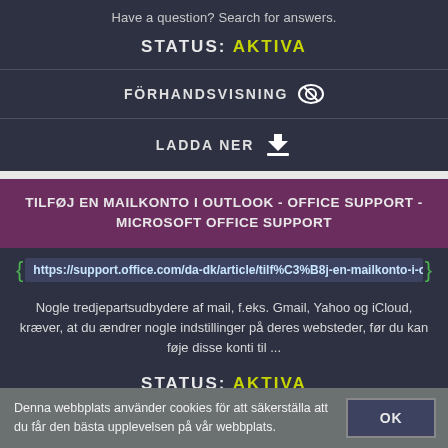Have a question? Search for answers.
STATUS: AKTIVA
FÖRHANDSVISNING
LADDA NER
TILFØJ EN MAILKONTO I OUTLOOK - OFFICE SUPPORT - MICROSOFT OFFICE SUPPORT
https://support.office.com/da-dk/article/tilf%C3%B8j-en-mailkonto-i-o
Nogle tredjepartsudbydere af mail, f.eks. Gmail, Yahoo og iCloud, kræver, at du ændrer nogle indstillinger på deres websteder, før du kan føje disse konti til ...
STATUS: AKTIVA
Denna webbplats använder cookies för att säkerställa att du får den bästa upplevelsen på vår webbplats.